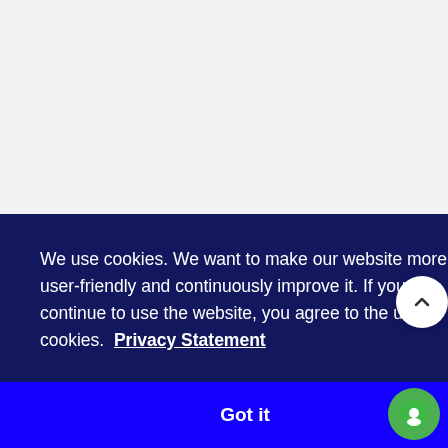We use cookies. We want to make our website more user-friendly and continuously improve it. If you continue to use the website, you agree to the use of cookies.  Privacy Statement
Got it